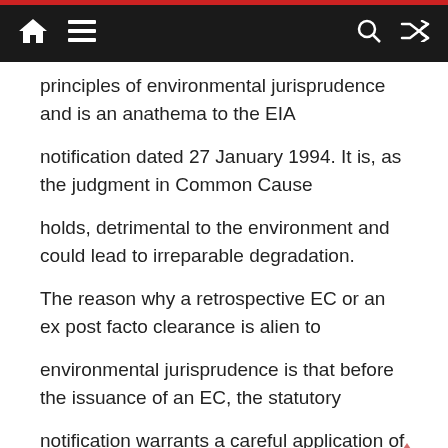[navigation bar with home, menu, search, shuffle icons]
principles of environmental jurisprudence and is an anathema to the EIA
notification dated 27 January 1994. It is, as the judgment in Common Cause
holds, detrimental to the environment and could lead to irreparable degradation.
The reason why a retrospective EC or an ex post facto clearance is alien to
environmental jurisprudence is that before the issuance of an EC, the statutory
notification warrants a careful application of mind, besides a study into the likely
consequences of a proposed activity on the